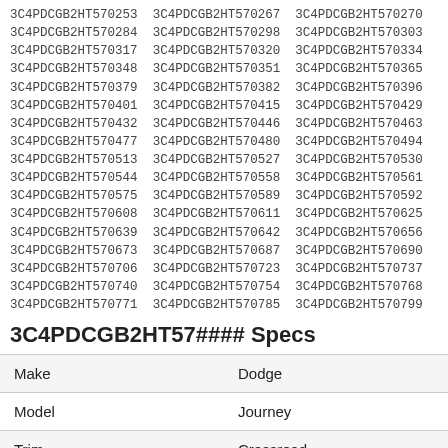3C4PDCGB2HT570253 3C4PDCGB2HT570267 3C4PDCGB2HT570270 3C4PDCGB2HT570284 3C4PDCGB2HT570298 3C4PDCGB2HT570303 3C4PDCGB2HT570317 3C4PDCGB2HT570320 3C4PDCGB2HT570334 3C4PDCGB2HT570348 3C4PDCGB2HT570351 3C4PDCGB2HT570365 3C4PDCGB2HT570379 3C4PDCGB2HT570382 3C4PDCGB2HT570396 3C4PDCGB2HT570401 3C4PDCGB2HT570415 3C4PDCGB2HT570429 3C4PDCGB2HT570432 3C4PDCGB2HT570446 3C4PDCGB2HT570463 3C4PDCGB2HT570477 3C4PDCGB2HT570480 3C4PDCGB2HT570494 3C4PDCGB2HT570513 3C4PDCGB2HT570527 3C4PDCGB2HT570530 3C4PDCGB2HT570544 3C4PDCGB2HT570558 3C4PDCGB2HT570561 3C4PDCGB2HT570575 3C4PDCGB2HT570589 3C4PDCGB2HT570592 3C4PDCGB2HT570608 3C4PDCGB2HT570611 3C4PDCGB2HT570625 3C4PDCGB2HT570639 3C4PDCGB2HT570642 3C4PDCGB2HT570656 3C4PDCGB2HT570673 3C4PDCGB2HT570687 3C4PDCGB2HT570690 3C4PDCGB2HT570706 3C4PDCGB2HT570723 3C4PDCGB2HT570737 3C4PDCGB2HT570740 3C4PDCGB2HT570754 3C4PDCGB2HT570768 3C4PDCGB2HT570771 3C4PDCGB2HT570785 3C4PDCGB2HT570799
3C4PDCGB2HT57#### Specs
| Make | Dodge |
| --- | --- |
| Model | Journey |
| Trim | Crossroad |